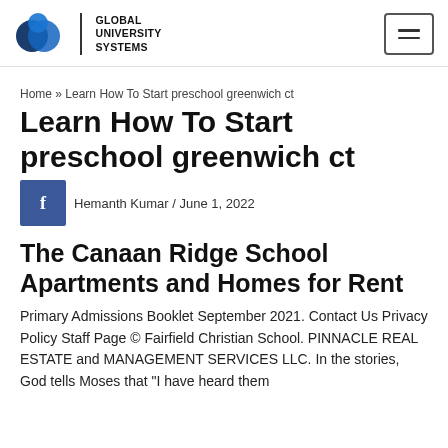Global University Systems
Home » Learn How To Start preschool greenwich ct
Learn How To Start preschool greenwich ct
Hemanth Kumar / June 1, 2022
The Canaan Ridge School Apartments and Homes for Rent
Primary Admissions Booklet September 2021. Contact Us Privacy Policy Staff Page © Fairfield Christian School. PINNACLE REAL ESTATE and MANAGEMENT SERVICES LLC. In the stories, God tells Moses that "I have heard them